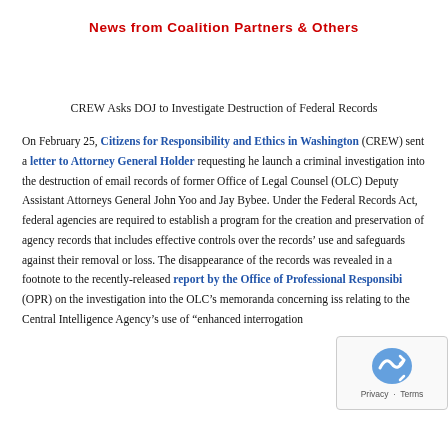News from Coalition Partners & Others
CREW Asks DOJ to Investigate Destruction of Federal Records
On February 25, Citizens for Responsibility and Ethics in Washington (CREW) sent a letter to Attorney General Holder requesting he launch a criminal investigation into the destruction of email records of former Office of Legal Counsel (OLC) Deputy Assistant Attorneys General John Yoo and Jay Bybee. Under the Federal Records Act, federal agencies are required to establish a program for the creation and preservation of agency records that includes effective controls over the records’ use and safeguards against their removal or loss. The disappearance of the records was revealed in a footnote to the recently-released report by the Office of Professional Responsibility (OPR) on the investigation into the OLC’s memoranda concerning issues relating to the Central Intelligence Agency’s use of "enhanced interrogation